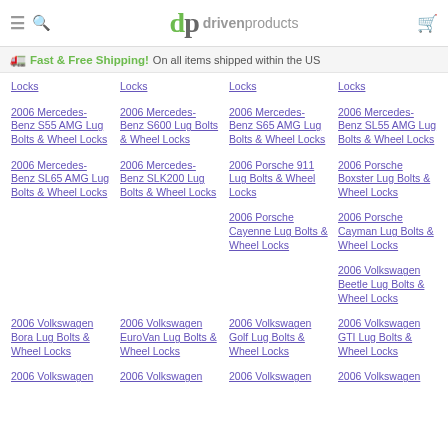dp drivenproducts
Fast & Free Shipping! On all items shipped within the US
Locks
Locks
Locks
Locks
2006 Mercedes-Benz S55 AMG Lug Bolts & Wheel Locks
2006 Mercedes-Benz S600 Lug Bolts & Wheel Locks
2006 Mercedes-Benz S65 AMG Lug Bolts & Wheel Locks
2006 Mercedes-Benz SL55 AMG Lug Bolts & Wheel Locks
2006 Mercedes-Benz SL65 AMG Lug Bolts & Wheel Locks
2006 Mercedes-Benz SLK200 Lug Bolts & Wheel Locks
2006 Porsche 911 Lug Bolts & Wheel Locks
2006 Porsche Boxster Lug Bolts & Wheel Locks
2006 Porsche Cayenne Lug Bolts & Wheel Locks
2006 Porsche Cayman Lug Bolts & Wheel Locks
2006 Volkswagen Beetle Lug Bolts & Wheel Locks
2006 Volkswagen Bora Lug Bolts & Wheel Locks
2006 Volkswagen EuroVan Lug Bolts & Wheel Locks
2006 Volkswagen Golf Lug Bolts & Wheel Locks
2006 Volkswagen GTI Lug Bolts & Wheel Locks
2006 Volkswagen (partial)
2006 Volkswagen (partial)
2006 Volkswagen (partial)
2006 Volkswagen (partial)